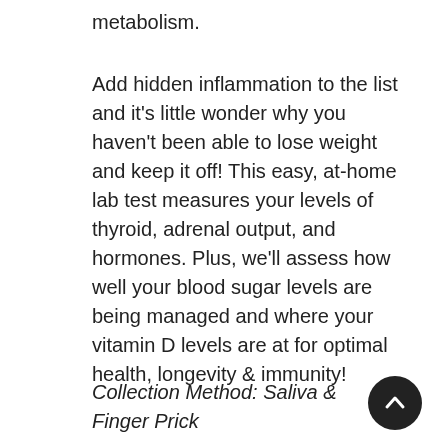metabolism.
Add hidden inflammation to the list and it’s little wonder why you haven't been able to lose weight and keep it off! This easy, at-home lab test measures your levels of thyroid, adrenal output, and hormones. Plus, we’ll assess how well your blood sugar levels are being managed and where your vitamin D levels are at for optimal health, longevity & immunity!
Collection Method: Saliva & Finger Prick